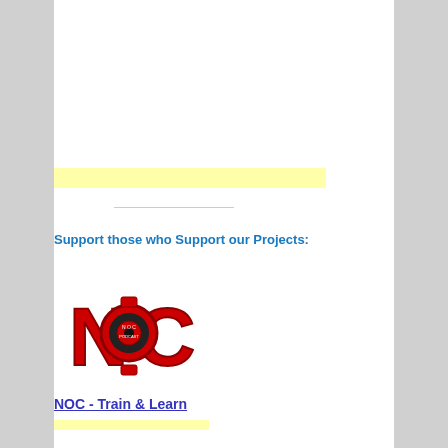[Figure (other): Yellow highlighted advertisement banner (empty)]
Support those who Support our Projects:
[Figure (logo): NOC podcast logo — red and black stylized letters N, O, C with circular design in center]
NOC - Train & Learn